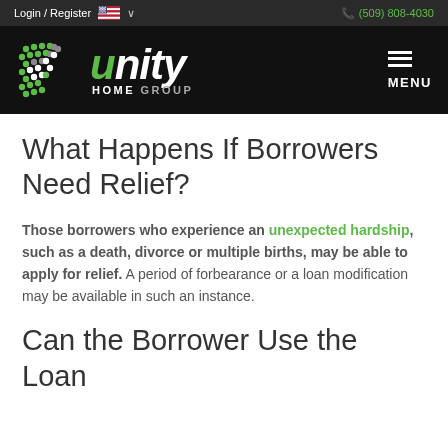Login / Register   (509) 808-4030
[Figure (logo): Unity Home Group logo with dot-matrix arrow icon on black background with MENU hamburger icon]
What Happens If Borrowers Need Relief?
Those borrowers who experience an unexpected hardship, such as a death, divorce or multiple births, may be able to apply for relief. A period of forbearance or a loan modification may be available in such an instance.
Can the Borrower Use the Loan